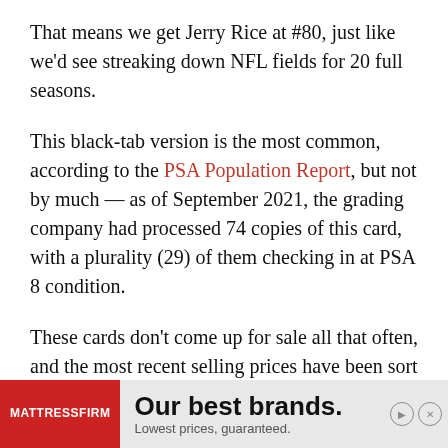That means we get Jerry Rice at #80, just like we'd see streaking down NFL fields for 20 full seasons.
This black-tab version is the most common, according to the PSA Population Report, but not by much — as of September 2021, the grading company had processed 74 copies of this card, with a plurality (29) of them checking in at PSA 8 condition.
These cards don't come up for sale all that often, and the most recent selling prices have been sort of all over the place. But looking at auction prices realized for other grades and considering the
[Figure (other): Mattress Firm advertisement banner: red logo on left reading MATTRESS FIRM, text reads 'Our best brands. Lowest prices, guaranteed.' with close and mute icons on right.]